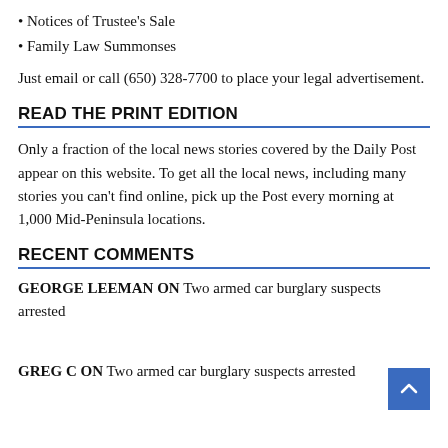• Notices of Trustee's Sale
• Family Law Summonses
Just email or call (650) 328-7700 to place your legal advertisement.
READ THE PRINT EDITION
Only a fraction of the local news stories covered by the Daily Post appear on this website. To get all the local news, including many stories you can't find online, pick up the Post every morning at 1,000 Mid-Peninsula locations.
RECENT COMMENTS
GEORGE LEEMAN ON Two armed car burglary suspects arrested
GREG C ON Two armed car burglary suspects arrested